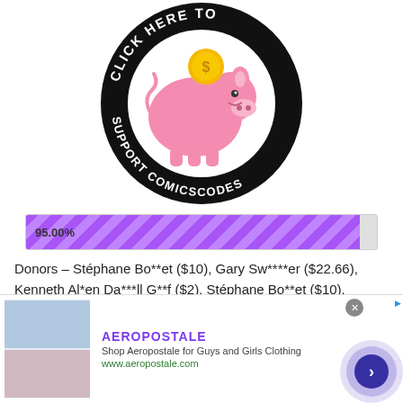[Figure (logo): Circular black badge logo with text 'CLICK HERE TO SUPPORT COMICSCODES' around a pink piggy bank illustration with a gold coin on top]
[Figure (infographic): Purple striped progress bar showing 95.00%]
Donors – Stéphane Bo**et ($10), Gary Sw****er ($22.66), Kenneth Al*en Da***ll G**f ($2), Stéphane Bo**et ($10).
A big thank you to all contributors.
[Figure (screenshot): Aeropostale advertisement banner with clothing images, brand name, description 'Shop Aeropostale for Guys and Girls Clothing', URL www.aeropostale.com, and navigation arrow]